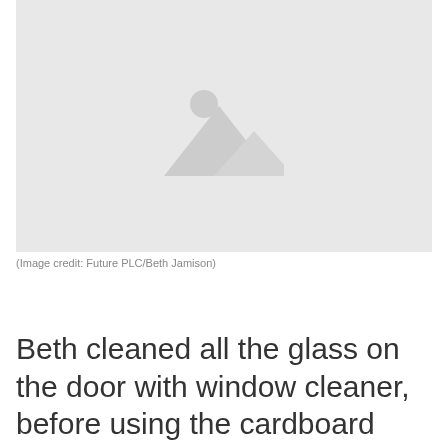[Figure (photo): Placeholder image with mountain and sun icon on light gray background]
(Image credit: Future PLC/Beth Jamison)
Beth cleaned all the glass on the door with window cleaner, before using the cardboard templates to cut